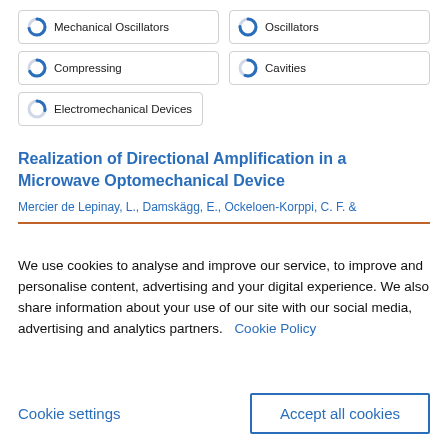Mechanical Oscillators
Oscillators
Compressing
Cavities
Electromechanical Devices
Realization of Directional Amplification in a Microwave Optomechanical Device
Mercier de Lepinay, L., Damskägg, E., Ockeloen-Korppi, C. F. &
We use cookies to analyse and improve our service, to improve and personalise content, advertising and your digital experience. We also share information about your use of our site with our social media, advertising and analytics partners.  Cookie Policy
Cookie settings
Accept all cookies